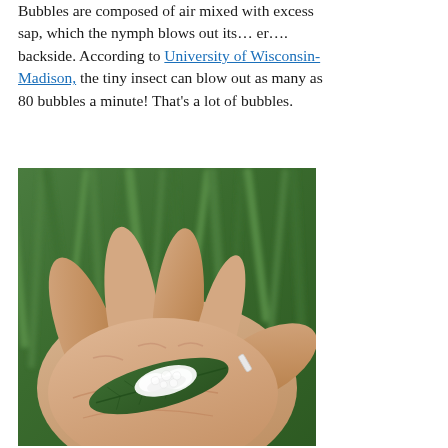Bubbles are composed of air mixed with excess sap, which the nymph blows out its… er…. backside. According to University of Wisconsin-Madison, the tiny insect can blow out as many as 80 bubbles a minute! That's a lot of bubbles.
[Figure (photo): A hand holding a green leaf with white foamy spittle bug mass on it, with green grass blurred in the background.]